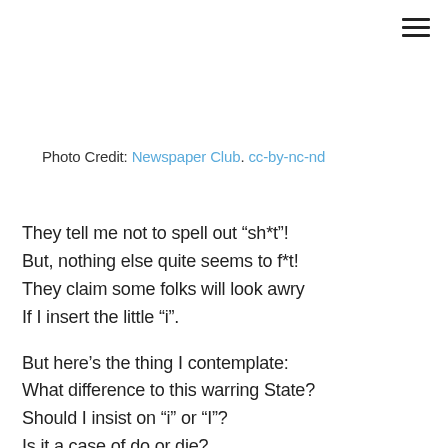[Figure (other): Hamburger menu icon (three horizontal lines) in top-right corner]
Photo Credit: Newspaper Club. cc-by-nc-nd
They tell me not to spell out “sh*t”!
But, nothing else quite seems to f*t!
They claim some folks will look awry
If I insert the little “i”.

But here’s the thing I contemplate:
What difference to this warring State?
Should I insist on “i” or “I”?
Is it a case of do or die?

I happily forego the spite